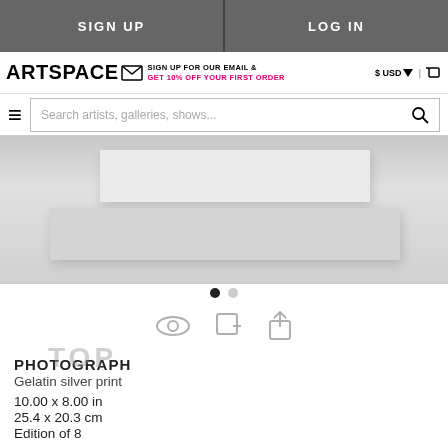SIGN UP | LOG IN
[Figure (screenshot): Artspace website header with logo, email signup promo, USD currency selector, hamburger menu, and search bar]
[Figure (photo): Abstract white/grey sculptural photograph showing two rectangular white relief shapes on a grey background]
Carousel navigation dots (1 filled, 1 empty)
[Figure (illustration): Action icon row: eye icon, add-to-collection icon, share icon]
PHOTOGRAPH
Gelatin silver print
10.00 x 8.00 in
25.4 x 20.3 cm
Edition of 8